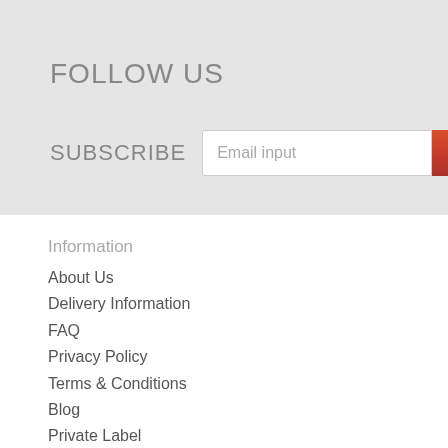FOLLOW US
SUBSCRIBE   Email input
Information
About Us
Delivery Information
FAQ
Privacy Policy
Terms & Conditions
Blog
Private Label
Customer Service